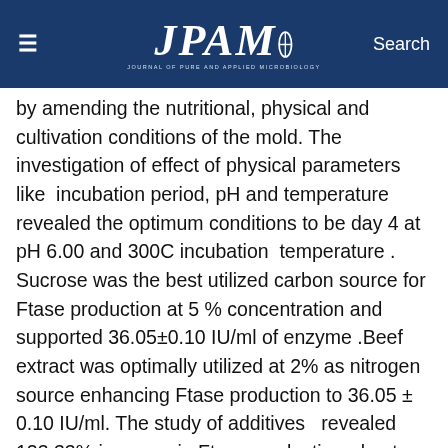≡  JPAM  Search
by amending the nutritional, physical and cultivation conditions of the mold. The investigation of effect of physical parameters like incubation period, pH and temperature revealed the optimum conditions to be day 4 at pH 6.00 and 300C incubation temperature . Sucrose was the best utilized carbon source for Ftase production at 5 % concentration and supported 36.05±0.10 IU/ml of enzyme .Beef extract was optimally utilized at 2% as nitrogen source enhancing Ftase production to 36.05 ± 0.10 IU/ml. The study of additives revealed 123.33% increase in Ftase production due to MgSO4. The introduction of shaking conditions increased the Ftase production to 68.73 ± 0.10 IU/ml.The total enhancement of Ftase production was 201.44%.